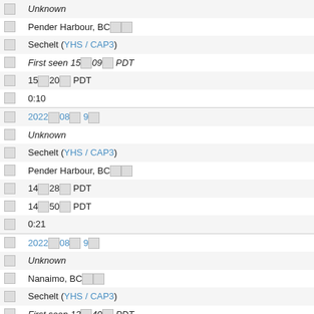|  |  |
| --- | --- |
|  | Unknown |
|  | Pender Harbour, BC□□ |
|  | Sechelt (YHS / CAP3) |
|  | First seen 15□09□ PDT |
|  | 15□20□ PDT |
|  | 0:10 |
|  | 2022□08□ 9□ |
|  | Unknown |
|  | Sechelt (YHS / CAP3) |
|  | Pender Harbour, BC□□ |
|  | 14□28□ PDT |
|  | 14□50□ PDT |
|  | 0:21 |
|  | 2022□08□ 9□ |
|  | Unknown |
|  | Nanaimo, BC□□ |
|  | Sechelt (YHS / CAP3) |
|  | First seen 13□40□ PDT |
|  | 13□53□ PDT |
|  | 0:12 |